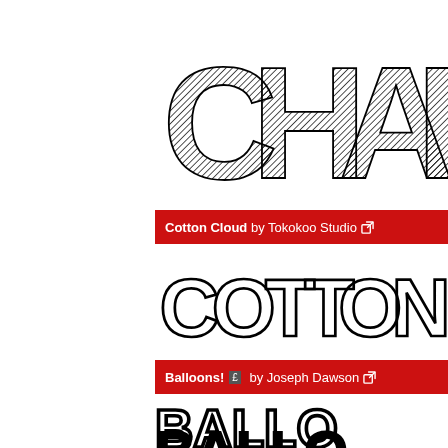[Figure (illustration): Large display of 'CHALKB...' text in a chalkboard/hatched sketch font style, black on white, cropped on the right]
Cotton Cloud by Tokokoo Studio [external link]
[Figure (illustration): Large display of 'COTTON...' text in a cotton cloud style font with bumpy outlines, black outline on white]
Balloons! [icon] by Joseph Dawson [external link]
[Figure (illustration): Large display of 'BALLO...' text in a balloon/bubble style font, bold black outlined letters]
[Figure (illustration): Large display of 'BALLO...' text in a balloon/bubble style font, solid black fill, partially visible at bottom]